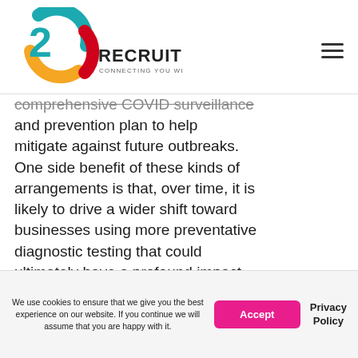2Recruitment - Connecting you with talent
comprehensive COVID surveillance and prevention plan to help mitigate against future outbreaks. One side benefit of these kinds of arrangements is that, over time, it is likely to drive a wider shift toward businesses using more preventative diagnostic testing that could ultimately have a profound impact in improving health outcomes for their staff.
We use cookies to ensure that we give you the best experience on our website. If you continue we will assume that you are happy with it. Accept | Privacy Policy